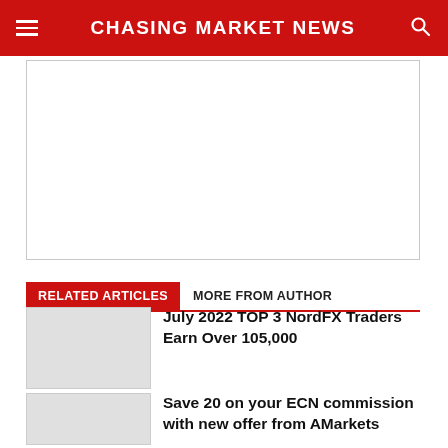CHASING MARKET NEWS
[Figure (other): Advertisement placeholder box]
RELATED ARTICLES | MORE FROM AUTHOR
July 2022 TOP 3 NordFX Traders Earn Over 105,000
Save 20 on your ECN commission with new offer from AMarkets